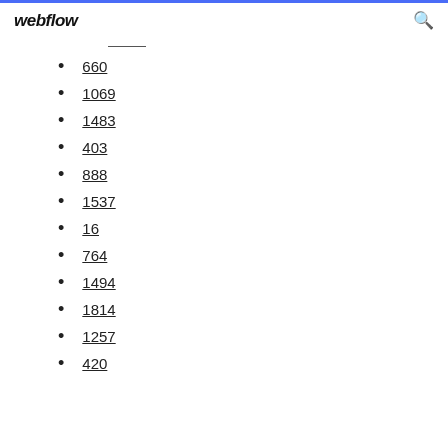webflow
660
1069
1483
403
888
1537
16
764
1494
1814
1257
420